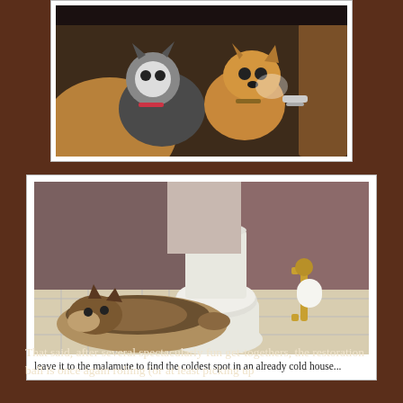[Figure (photo): Two puppies — one black-and-white husky and one tan/golden dog — sitting together inside a car interior with tan leather seats]
[Figure (photo): A malamute dog lying on the floor next to a toilet in a bathroom, with a brass toilet paper holder on the wall]
leave it to the malamute to find the coldest spot in an already cold house...
That said, after several spectacularly fun get-togethers, the restoration ball is once again rolling (or at least picking up